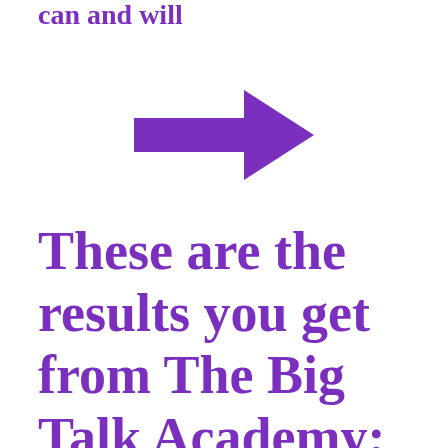can and will
[Figure (illustration): A large bold purple right-pointing arrow]
These are the results you get from The Big Talk Academy: